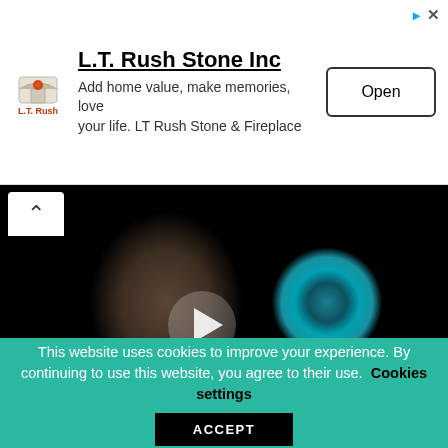[Figure (screenshot): Advertisement banner for L.T. Rush Stone Inc with logo, company name, tagline 'Add home value, make memories, love your life. LT Rush Stone & Fireplace', and an 'Open' button. Also shows ad attribution icons (arrow and X) in top right.]
[Figure (photo): Video thumbnail showing a person with natural hair singing or speaking into a blue microphone. The image is dark/muted in tone. A play button (triangle) is overlaid in the center.]
This website uses cookies to improve your experience. By continuing to use this website, you agree to their use. Cookies settings ACCEPT